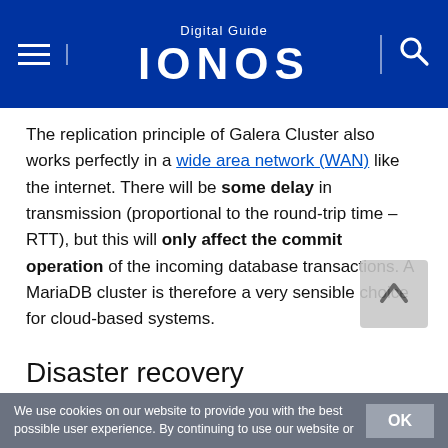Digital Guide IONOS
The replication principle of Galera Cluster also works perfectly in a wide area network (WAN) like the internet. There will be some delay in transmission (proportional to the round-trip time – RTT), but this will only affect the commit operation of the incoming database transactions. A MariaDB cluster is therefore a very sensible choice for cloud-based systems.
Disaster recovery
Anyone who stores and manages data in the cloud needs to consider data recovery. Thanks to Galera Cluster, data can be stored in a separate data center so that a complete copy of the data is available for recovery purposes in the event of an emergency. In this setup, the recovery data center of the
We use cookies on our website to provide you with the best possible user experience. By continuing to use our website or